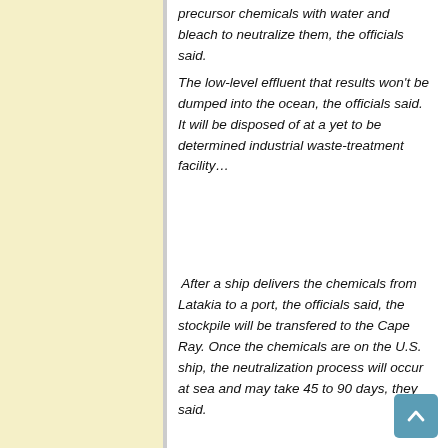precursor chemicals with water and bleach to neutralize them, the officials said.
The low-level effluent that results won't be dumped into the ocean, the officials said. It will be disposed of at a yet to be determined industrial waste-treatment facility...
After a ship delivers the chemicals from Latakia to a port, the officials said, the stockpile will be transfered to the Cape Ray. Once the chemicals are on the U.S. ship, the neutralization process will occur at sea and may take 45 to 90 days, they said.